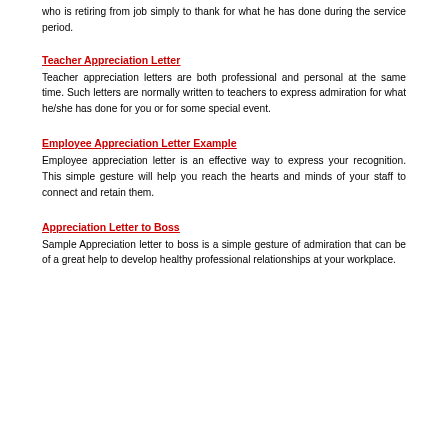who is retiring from job simply to thank for what he has done during the service period.
Teacher Appreciation Letter
Teacher appreciation letters are both professional and personal at the same time. Such letters are normally written to teachers to express admiration for what he/she has done for you or for some special event.
Employee Appreciation Letter Example
Employee appreciation letter is an effective way to express your recognition. This simple gesture will help you reach the hearts and minds of your staff to connect and retain them.
Appreciation Letter to Boss
Sample Appreciation letter to boss is a simple gesture of admiration that can be of a great help to develop healthy professional relationships at your workplace.